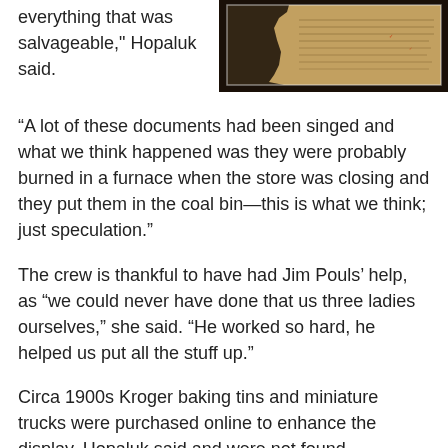[Figure (photo): A framed historical document or map with dark borders and aged/burned appearance, shown hanging on a wall.]
everything that was salvageable," Hopaluk said.
“A lot of these documents had been singed and what we think happened was they were probably burned in a furnace when the store was closing and they put them in the coal bin—this is what we think; just speculation.”
The crew is thankful to have had Jim Pouls’ help, as “we could never have done that us three ladies ourselves,” she said. “He worked so hard, he helped us put all the stuff up.”
Circa 1900s Kroger baking tins and miniature trucks were purchased online to enhance the display, Hopaluk said and were not found underground.
In addition to the Kroger materials there are also other artifacts found during construction on display such as large railroad spikes, 1916 bricks and more than a dozen photos of the